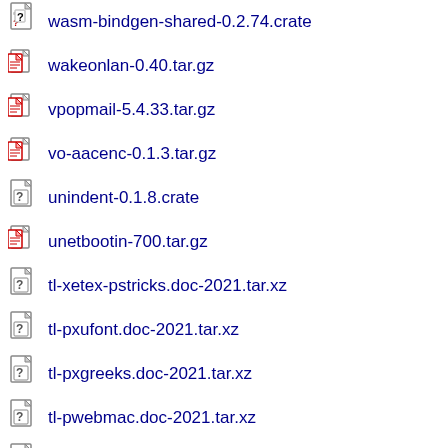wasm-bindgen-shared-0.2.74.crate
wakeonlan-0.40.tar.gz
vpopmail-5.4.33.tar.gz
vo-aacenc-0.1.3.tar.gz
unindent-0.1.8.crate
unetbootin-700.tar.gz
tl-xetex-pstricks.doc-2021.tar.xz
tl-pxufont.doc-2021.tar.xz
tl-pxgreeks.doc-2021.tar.xz
tl-pwebmac.doc-2021.tar.xz
tl-pst-perspective-2021.tar.xz
tl-pst-contourplot-2021.tar.xz